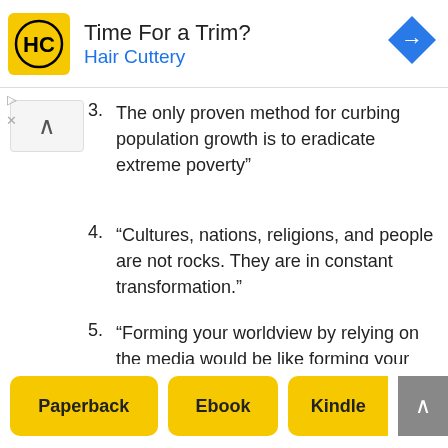[Figure (other): Hair Cuttery advertisement banner with yellow HC logo, text 'Time For a Trim?' and 'Hair Cuttery', and a blue navigation arrow icon]
3. The only proven method for curbing population growth is to eradicate extreme poverty”
4. “Cultures, nations, religions, and people are not rocks. They are in constant transformation.”
5. “Forming your worldview by relying on the media would be like forming your view about me by looking only at a picture of my foot.”
Paperback   Ebook   Kindle